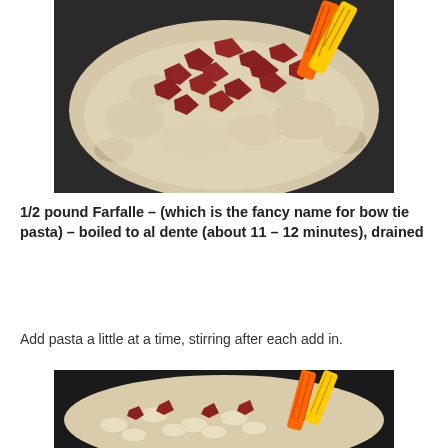[Figure (photo): Pan with creamy pasta dish topped with torn red meat pieces and a colorful orange and yellow spatula/tongs]
1/2 pound Farfalle – (which is the fancy name for bow tie pasta) –  boiled to al dente (about 11 – 12 minutes), drained
Add pasta a little at a time, stirring after each add in.
[Figure (photo): Pan with creamy pasta (bow tie / farfalle) mixed with meat, with orange and yellow tongs]